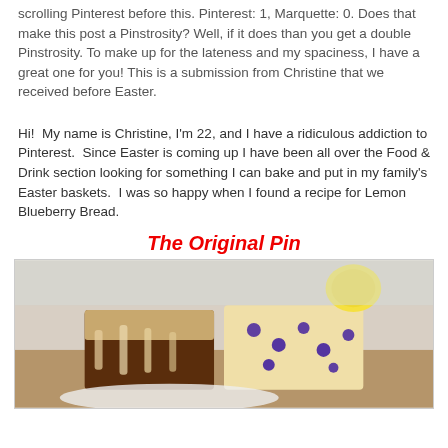scrolling Pinterest before this. Pinterest: 1, Marquette: 0. Does that make this post a Pinstrosity? Well, if it does than you get a double Pinstrosity. To make up for the lateness and my spaciness, I have a great one for you! This is a submission from Christine that we received before Easter.
Hi!  My name is Christine, I'm 22, and I have a ridiculous addiction to Pinterest.  Since Easter is coming up I have been all over the Food & Drink section looking for something I can bake and put in my family's Easter baskets.  I was so happy when I found a recipe for Lemon Blueberry Bread.
The Original Pin
[Figure (photo): Photo of Lemon Blueberry Bread slices with glaze, showing dark caramelized bottom and blueberry-studded interior, with a lemon in the background.]